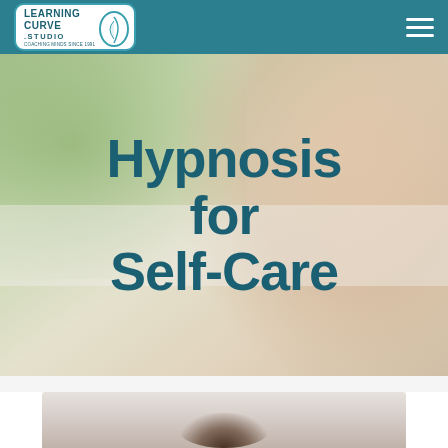LEARNING CURVE .STUDIO — navigation header with hamburger menu
[Figure (photo): Hero image of a woman with closed eyes in a relaxed/meditative pose outdoors, with blurred green foliage background. Overlaid with large bold teal text reading 'Hypnosis for Self-Care']
Hypnosis for Self-Care
[Figure (photo): Partial view of a second photo at the bottom of the page showing the top of a person's head with dark curly hair, on a light gray background]